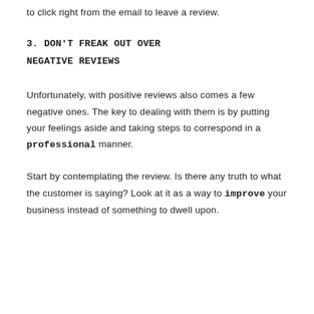to click right from the email to leave a review.
3. DON'T FREAK OUT OVER NEGATIVE REVIEWS
Unfortunately, with positive reviews also comes a few negative ones. The key to dealing with them is by putting your feelings aside and taking steps to correspond in a professional manner.
Start by contemplating the review. Is there any truth to what the customer is saying? Look at it as a way to improve your business instead of something to dwell upon.